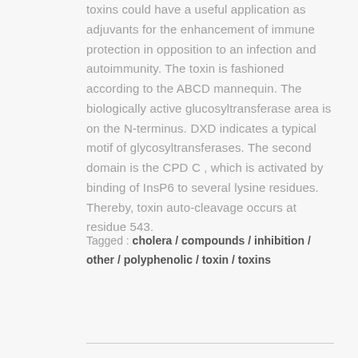toxins could have a useful application as adjuvants for the enhancement of immune protection in opposition to an infection and autoimmunity. The toxin is fashioned according to the ABCD mannequin. The biologically active glucosyltransferase area is on the N-terminus. DXD indicates a typical motif of glycosyltransferases. The second domain is the CPD C , which is activated by binding of InsP6 to several lysine residues. Thereby, toxin auto-cleavage occurs at residue 543.
Tagged : cholera / compounds / inhibition / other / polyphenolic / toxin / toxins